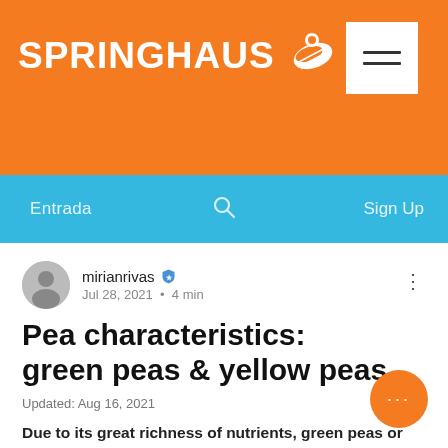SPRINGHAUS
Entrada  Sign Up
mirianrivas · Jul 28, 2021 · 4 min
Pea characteristics: green peas & yellow peas
Updated: Aug 16, 2021
Due to its great richness of nutrients, green peas or yellow peas are included in the diet of birds. Its color depends on its cotyledon, but it's not just about it's about nutrients. Since the yellow